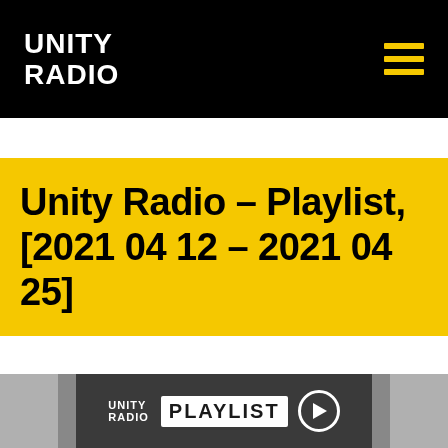UNITY RADIO
Unity Radio – Playlist, [2021 04 12 – 2021 04 25]
[Figure (screenshot): Unity Radio playlist thumbnail showing logo, PLAYLIST text, and play button on dark background with grey borders]